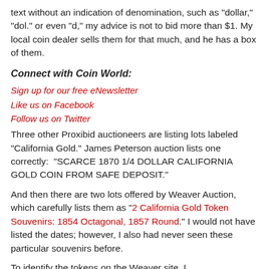text without an indication of denomination, such as "dollar," "dol." or even "d," my advice is not to bid more than $1. My local coin dealer sells them for that much, and he has a box of them.
Connect with Coin World:
Sign up for our free eNewsletter
Like us on Facebook
Follow us on Twitter
Three other Proxibid auctioneers are listing lots labeled "California Gold." James Peterson auction lists one correctly:  "SCARCE 1870 1/4 DOLLAR CALIFORNIA GOLD COIN FROM SAFE DEPOSIT."
And then there are two lots offered by Weaver Auction, which carefully lists them as "2 California Gold Token Souvenirs: 1854 Octagonal, 1857 Round." I would not have listed the dates; however, I also had never seen these particular souvenirs before.
To identify the tokens on the Weaver site, I